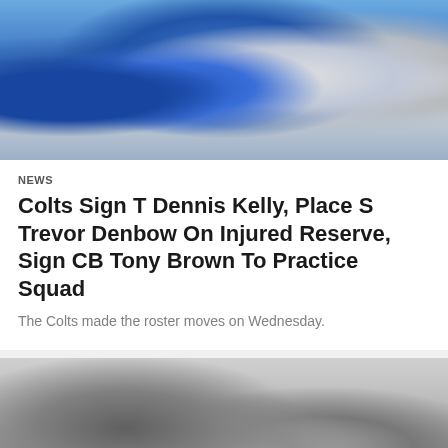[Figure (photo): Football action photo showing players in blue and white jerseys during a game]
NEWS
Colts Sign T Dennis Kelly, Place S Trevor Denbow On Injured Reserve, Sign CB Tony Brown To Practice Squad
The Colts made the roster moves on Wednesday.
[Figure (photo): Blurred grayscale football photo, second article preview image]